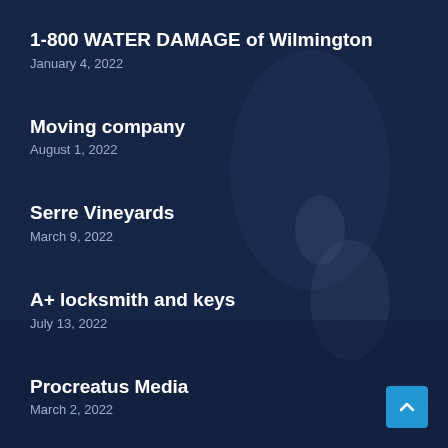1-800 WATER DAMAGE of Wilmington
January 4, 2022
Moving company
August 1, 2022
Serre Vineyards
March 9, 2022
A+ locksmith and keys
July 13, 2022
Procreatus Media
March 2, 2022